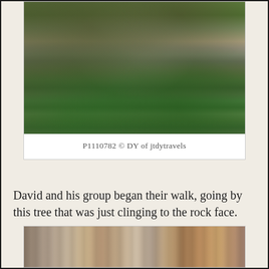[Figure (photo): Close-up photograph of a tree with gnarled roots clinging to a moss-covered rock face, with green foliage visible at the bottom]
P1110782 © DY of jtdytravels
David and his group began their walk, going by this tree that was just clinging to the rock face.
[Figure (photo): Close-up photograph of tree bark with a warm brown and fibrous texture]